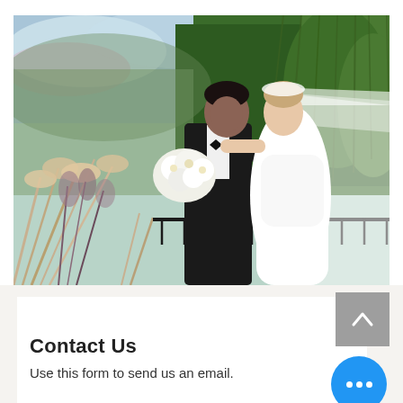[Figure (photo): Wedding photo of a bride and groom outdoors. The groom, wearing a black tuxedo, kisses the bride on her cheek. The bride wears a white strapless dress with a long flowing veil. She holds white flowers. Background features weeping willow trees and lush green foliage. Foreground has blurred ornamental grasses.]
Contact Us
Use this form to send us an email.